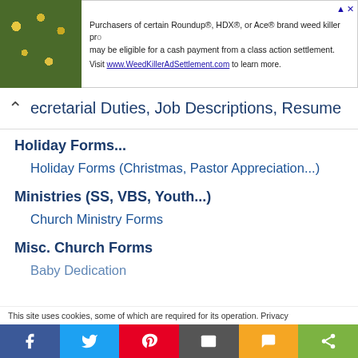[Figure (screenshot): Advertisement banner: photo of green plants with yellow flowers on left, text about Roundup/HDX/Ace brand weed killer class action settlement on right]
Secretarial Duties, Job Descriptions, Resume
Holiday Forms...
Holiday Forms (Christmas, Pastor Appreciation...)
Ministries (SS, VBS, Youth...)
Church Ministry Forms
Misc. Church Forms
Baby Dedication
This site uses cookies, some of which are required for its operation. Privacy
[Figure (screenshot): Social sharing bar with Facebook, Twitter, Pinterest, Email, SMS, and Share buttons]